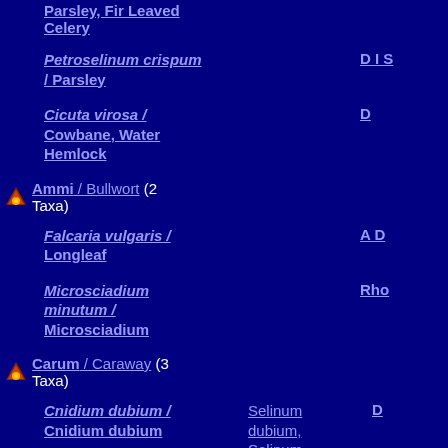Parsley, Fir Leaved Celery
Petroselinum crispum / Parsley  D I S
Cicuta virosa / Cowbane, Water Hemlock  D
Ammi / Bullwort (2 Taxa)
Falcaria vulgaris / Longleaf  A D
Microsciadium minutum / Microsciadium  Rho
Carum / Caraway (3 Taxa)
Cnidium dubium / Cnidium dubium  Selinum dubium, Selinum venosum  D
Selinum / Milk Parsley, Angelica (2 Taxa)
Ligusticum / Lovage (2